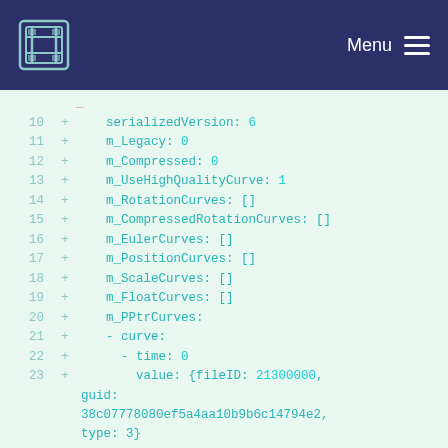Menu
10  +    serializedVersion: 6
11  +    m_Legacy: 0
12  +    m_Compressed: 0
13  +    m_UseHighQualityCurve: 1
14  +    m_RotationCurves: []
15  +    m_CompressedRotationCurves: []
16  +    m_EulerCurves: []
17  +    m_PositionCurves: []
18  +    m_ScaleCurves: []
19  +    m_FloatCurves: []
20  +    m_PPtrCurves:
21  +    - curve:
22  +      - time: 0
23  +        value: {fileID: 21300000, guid: 38c07778080ef5a4aa10b9b6c14794e2, type: 3}
24  +        - time: 0.125
25  +        value: {fileID: 21300000, guid: